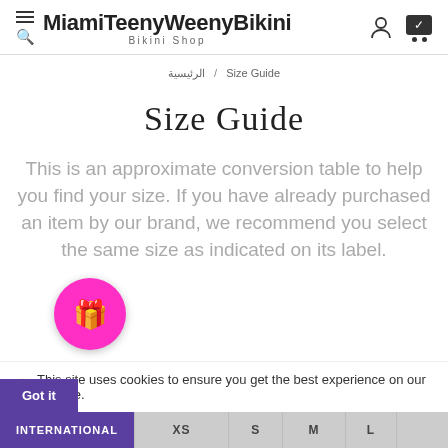MiamiTeenyWeenyBikini — Bikini Shop
الرئيسية / Size Guide
Size Guide
This is an approximate conversion table to help you find your size. If you have already purchased an item by our brand, we recommend you select the same size as indicated on its label.
We use cookie... (partial table row): INTERNATIONAL | XS | S | M | L
🍪 This site uses cookies to ensure you get the best experience on our website. Got it